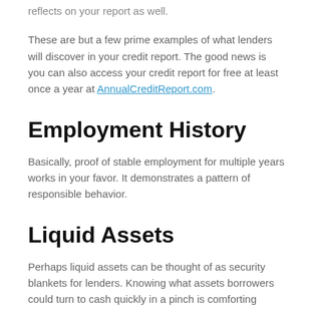reflects on your report as well.
These are but a few prime examples of what lenders will discover in your credit report. The good news is you can also access your credit report for free at least once a year at AnnualCreditReport.com.
Employment History
Basically, proof of stable employment for multiple years works in your favor. It demonstrates a pattern of responsible behavior.
Liquid Assets
Perhaps liquid assets can be thought of as security blankets for lenders. Knowing what assets borrowers could turn to cash quickly in a pinch is comforting